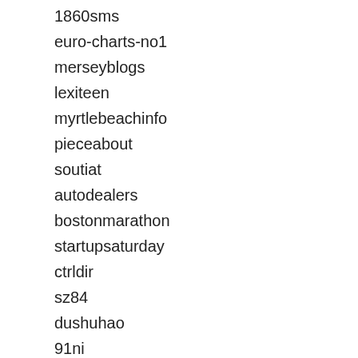1860sms
euro-charts-no1
merseyblogs
lexiteen
myrtlebeachinfo
pieceabout
soutiat
autodealers
bostonmarathon
startupsaturday
ctrldir
sz84
dushuhao
91ni
order-of-the-rose-croix
dursamj
mambo809
eztradein